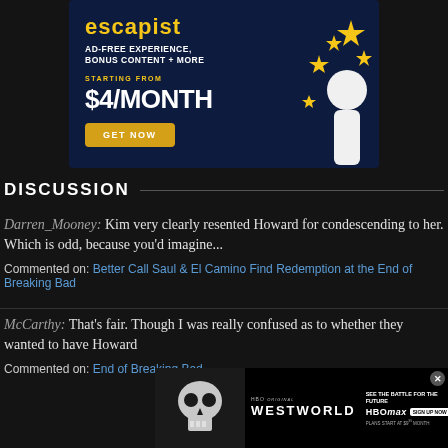[Figure (screenshot): Advertisement banner for Escapist subscription: AD-FREE EXPERIENCE, BONUS CONTENT + MORE, STARTING FROM $4/MONTH, GET NOW button, with star illustration]
DISCUSSION
Darren_Mooney: Kim very clearly resented Howard for condescending to her. Which is odd, because you'd imagine...
Commented on: Better Call Saul & El Camino Find Redemption at the End of Breaking Bad
McCarthy: That's fair. Though I was really confused as to whether they wanted to have Howard
Commented on: [link] End of Breaking Bad
[Figure (screenshot): Westworld HBO Max advertisement overlay at bottom of page with skull graphic, WESTWORLD logo, SEE THE BATTLE FOR THE FUTURE text, HBO Max sign up now button, PLANS START AT $9.99/MONTH]